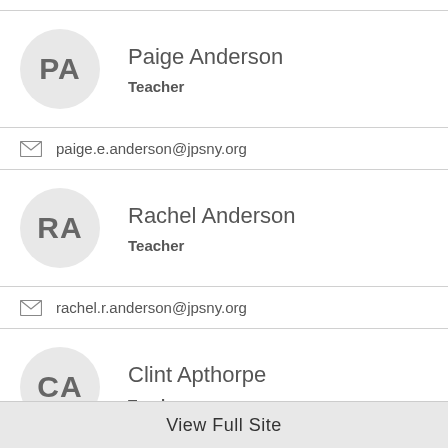PA — Paige Anderson, Teacher
paige.e.anderson@jpsny.org
RA — Rachel Anderson, Teacher
rachel.r.anderson@jpsny.org
CA — Clint Apthorpe, Teacher
View Full Site